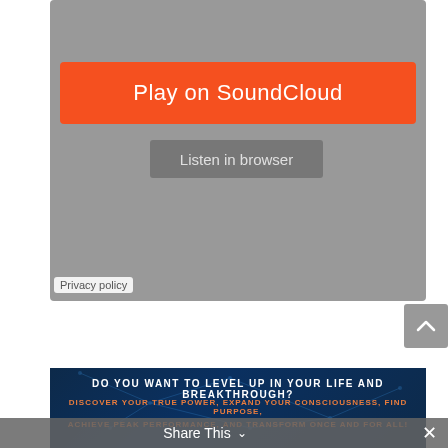[Figure (screenshot): SoundCloud embedded widget with gray background, orange 'Play on SoundCloud' button, and 'Listen in browser' button]
Play on SoundCloud
Listen in browser
Privacy policy
[Figure (screenshot): Scroll to top button with upward chevron arrow on gray background]
[Figure (infographic): Dark blue advertisement banner with network/constellation background. Text: DO YOU WANT TO LEVEL UP IN YOUR LIFE AND BREAKTHROUGH? DISCOVER YOUR TRUE POWER, EXPAND YOUR CONSCIOUSNESS, FIND PURPOSE, ACHIEVE PEAK PERFORMANCE, AND TRANSFORM ONCE AND FOR ALL!]
Share This
×